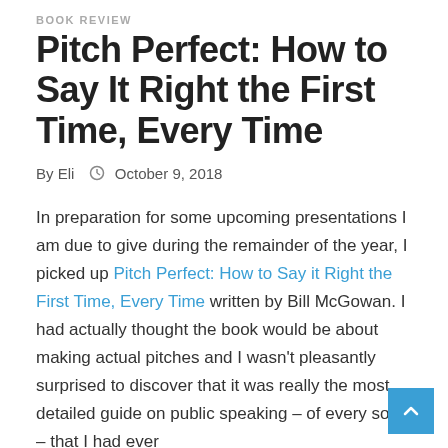BOOK REVIEW
Pitch Perfect: How to Say It Right the First Time, Every Time
By Eli  ○  October 9, 2018
In preparation for some upcoming presentations I am due to give during the remainder of the year, I picked up Pitch Perfect: How to Say it Right the First Time, Every Time written by Bill McGowan. I had actually thought the book would be about making actual pitches and I wasn’t pleasantly surprised to discover that it was really the most detailed guide on public speaking – of every sort – that I had ever